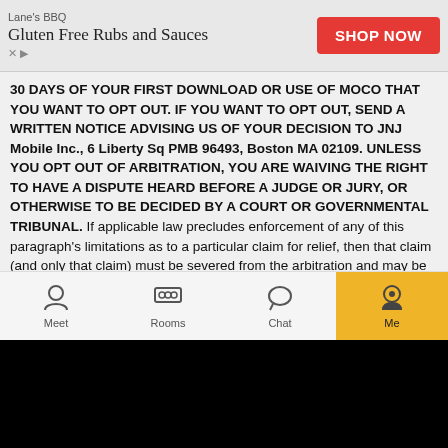[Figure (screenshot): Advertisement banner for Lane's BBQ Gluten Free Rubs and Sauces with a red SHOP NOW button]
30 DAYS OF YOUR FIRST DOWNLOAD OR USE OF MOCO THAT YOU WANT TO OPT OUT. IF YOU WANT TO OPT OUT, SEND A WRITTEN NOTICE ADVISING US OF YOUR DECISION TO JNJ Mobile Inc., 6 Liberty Sq PMB 96493, Boston MA 02109. UNLESS YOU OPT OUT OF ARBITRATION, YOU ARE WAIVING THE RIGHT TO HAVE A DISPUTE HEARD BEFORE A JUDGE OR JURY, OR OTHERWISE TO BE DECIDED BY A COURT OR GOVERNMENTAL TRIBUNAL. If applicable law precludes enforcement of any of this paragraph's limitations as to a particular claim for relief, then that claim (and only that claim) must be severed from the arbitration and may be brought in court, subject to your and Moco's right to appeal the decision that such claim is for relief cannot be brought in arbitration. All other claims will be arbitrated.
19. U.S. Export Controls. You may not use, export, import, or transfer the Moco Properties except as authorized by U.S. law, the laws of the jurisdiction in which you obtained the Moco Properties, and any
[Figure (screenshot): Mobile app navigation bar with Meet, Rooms, Chat, and Me tabs. Me tab is highlighted in orange/gold with a SALE badge.]